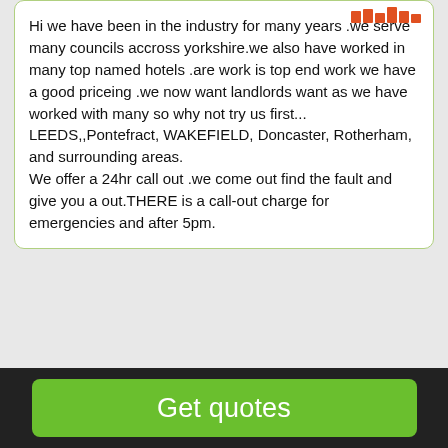Hi we have been in the industry for many years .we serve many councils accross yorkshire.we also have worked in many top named hotels .are work is top end work we have a good priceing .we now want landlords want as we have worked with many so why not try us first... LEEDS,,Pontefract, WAKEFIELD, Doncaster, Rotherham, and surrounding areas. We offer a 24hr call out .we come out find the fault and give you a out.THERE is a call-out charge for emergencies and after 5pm.
Avanti decorators
Painter & Decorators near Newton St Loe.
[Figure (logo): Avanti Decorators circular black logo with white text]
Get quotes